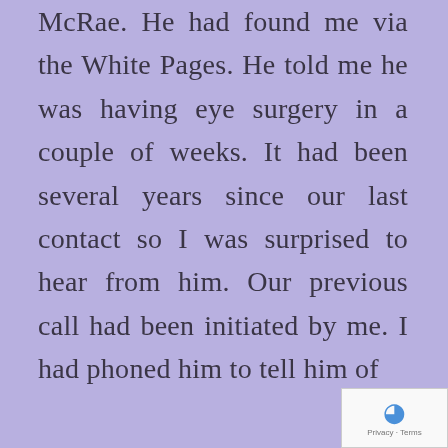McRae. He had found me via the White Pages. He told me he was having eye surgery in a couple of weeks. It had been several years since our last contact so I was surprised to hear from him. Our previous call had been initiated by me. I had phoned him to tell him of